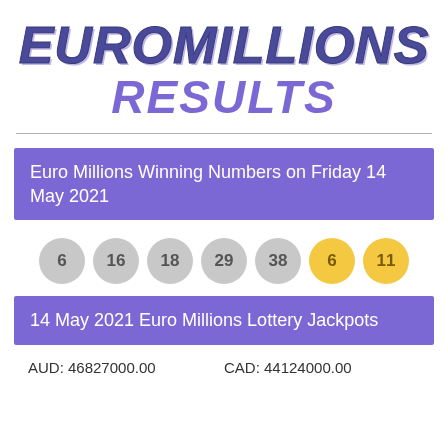EUROMILLIONS RESULTS
Euro Millions Winning Numbers on Friday 14 May 2021
[Figure (infographic): Seven lottery balls showing winning numbers: 6, 16, 18, 29, 38 (grey), 6, 11 (gold/yellow lucky stars)]
14 May 2021 Euro Millions Lottery Jackpots
AUD: 46827000.00    CAD: 44124000.00